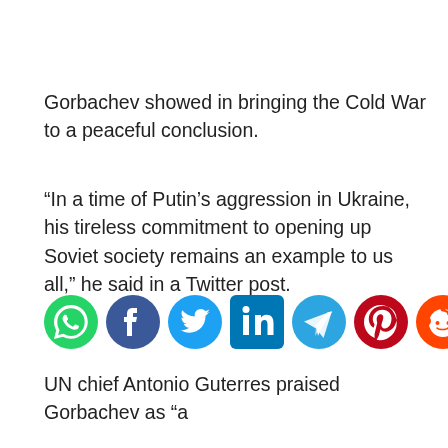Gorbachev showed in bringing the Cold War to a peaceful conclusion.
“In a time of Putin’s aggression in Ukraine, his tireless commitment to opening up Soviet society remains an example to us all,” he said in a Twitter post.
[Figure (infographic): Social media share icons: WhatsApp (green), Facebook (dark blue), Twitter (light blue), LinkedIn (blue square), Telegram (blue), Pinterest (red), Reddit (orange), Email (red envelope)]
UN chief Antonio Guterres praised Gorbachev as “a